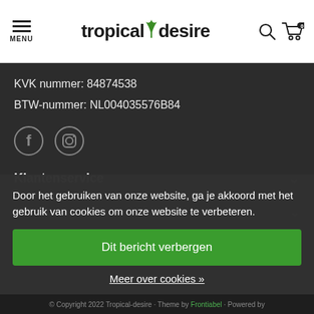[Figure (logo): Tropical Desire logo with palm tree icon and hamburger menu, search and cart icons]
KVK nummer: 84874538
BTW-nummer: NL004035576B84
[Figure (illustration): Facebook and Instagram social media icons]
Klantenservice
Mijn account
Nieuw
Door het gebruiken van onze website, ga je akkoord met het gebruik van cookies om onze website te verbeteren.
Dit bericht verbergen
Meer over cookies »
© Copyright 2022 Tropical-desire · Theme by Frontiabel · Powered by